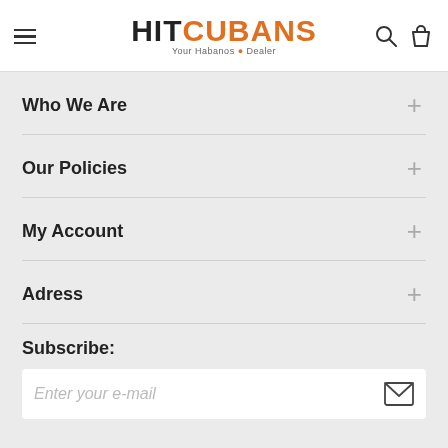HITCUBANS – Your Habanos Dealer
Who We Are
Our Policies
My Account
Adress
Subscribe:
Enter your e-mail